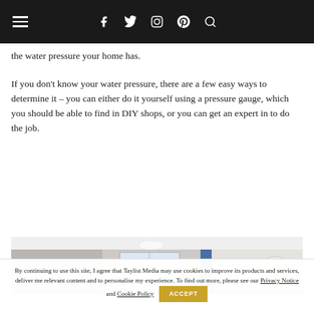Navigation bar with hamburger menu, social icons (Facebook, Twitter, Instagram, Pinterest) and search
the water pressure your home has.
If you don't know your water pressure, there are a few easy ways to determine it – you can either do it yourself using a pressure gauge, which you should be able to find in DIY shops, or you can get an expert in to do the job.
[Figure (photo): Photograph of a modern bathroom interior with concrete-look walls, a window, blue vertical accent strip, and a rounded mirror with decorative light]
By continuing to use this site, I agree that Taylist Media may use cookies to improve its products and services, deliver me relevant content and to personalise my experience. To find out more, please see our Privacy Notice and Cookie Policy